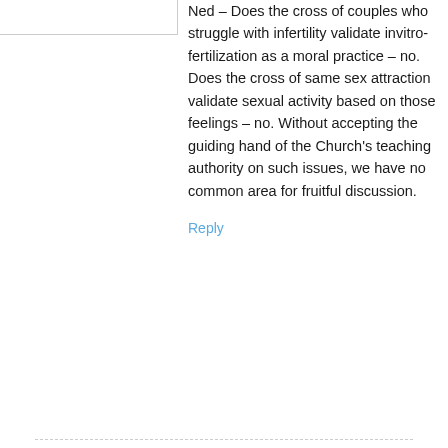Ned – Does the cross of couples who struggle with infertility validate invitro-fertilization as a moral practice – no. Does the cross of same sex attraction validate sexual activity based on those feelings – no. Without accepting the guiding hand of the Church's teaching authority on such issues, we have no common area for fruitful discussion.
Reply